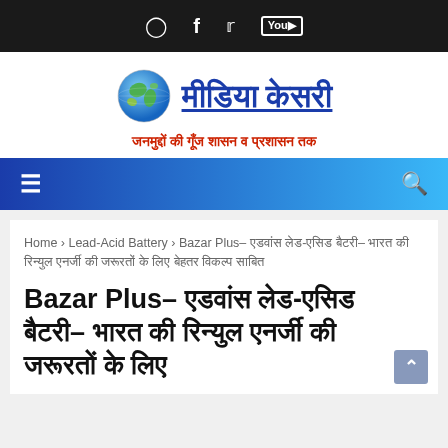Social icons: Instagram, Facebook, Twitter, YouTube
[Figure (logo): Media Kesari logo with globe icon, site title in Hindi (मीडिया केसरी), and tagline जनमुद्दों की गूँज शासन व प्रशासन तक]
Navigation bar with hamburger menu and search icon
Home > Lead-Acid Battery > Bazar Plus- एडवांस लेड-एसिड बैटरी- भारत की रिन्युल एनर्जी की जरूरतों के लिए बेहतर विकल्प साबित
Bazar Plus- एडवांस लेड-एसिड बैटरी- भारत की रिन्युल एनर्जी की जरूरतों के लिए